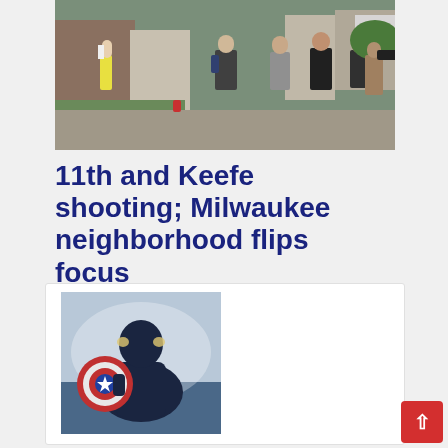[Figure (photo): Outdoor street scene photograph showing people walking and gathered on a residential street, with houses visible in the background and trees. Appears to be a neighborhood gathering or event.]
11th and Keefe shooting; Milwaukee neighborhood flips focus
[Figure (photo): Captain America character from behind, holding his iconic red, white and blue shield, standing against a water/sky backdrop.]